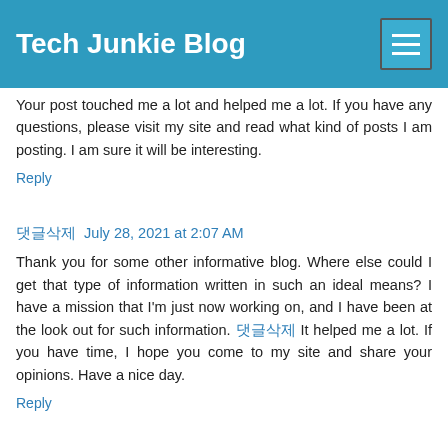Tech Junkie Blog
Your post touched me a lot and helped me a lot. If you have any questions, please visit my site and read what kind of posts I am posting. I am sure it will be interesting.
Reply
댓글삭제 July 28, 2021 at 2:07 AM
Thank you for some other informative blog. Where else could I get that type of information written in such an ideal means? I have a mission that I'm just now working on, and I have been at the look out for such information. 댓글삭제 It helped me a lot. If you have time, I hope you come to my site and share your opinions. Have a nice day.
Reply
댓글삭제삭 July 30, 2021 at 5:15 AM
Pretty nice post. I just stumbled upon your weblog and wanted to say that I have really enjoyed browsing your blog posts. After